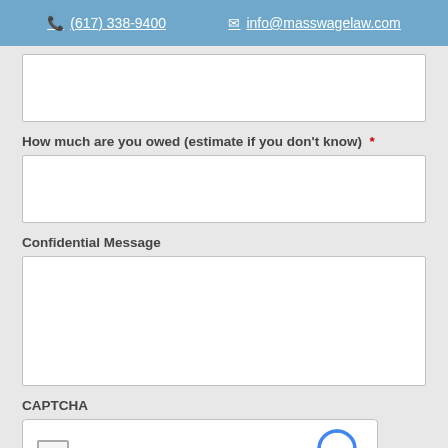(617) 338-9400   info@masswagelaw.com
How much are you owed (estimate if you don't know) *
Confidential Message
CAPTCHA
I'm not a robot reCAPTCHA Privacy - Terms